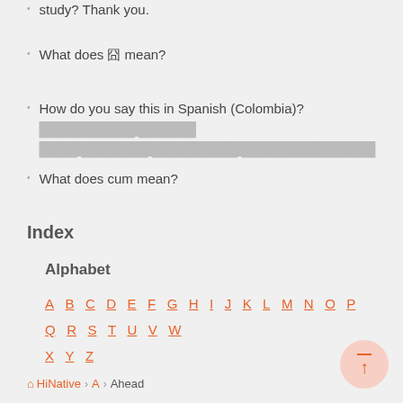study? Thank you.
What does 囧 mean?
How do you say this in Spanish (Colombia)? [blurred text]
What does cum mean?
Index
Alphabet
A B C D E F G H I J K L M N O P Q R S T U V W X Y Z
HiNative > A > Ahead